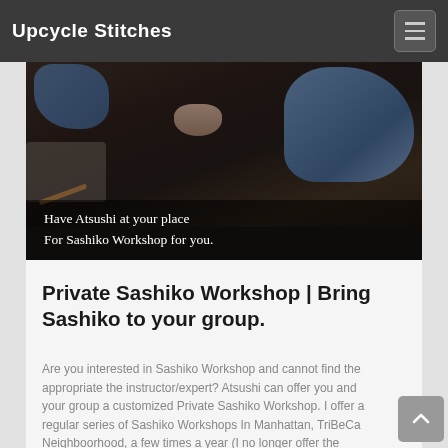Upcycle Stitches
[Figure (photo): A dark wooden table with denim fabric and a bowl, overlaid with text: 'Have Atsushi at your place For Sashiko Workshop for you.']
Private Sashiko Workshop | Bring Sashiko to your group.
Are you interested in Sashiko Workshop and cannot find the appropriate the instructor/expert? Atsushi can offer you and your group a customized Private Sashiko Workshop. I offer a regular series of Sashiko Workshops In Manhattan, TriBeCa Neighboorhood, a few times a year (I no longer offer the periodic workshop in